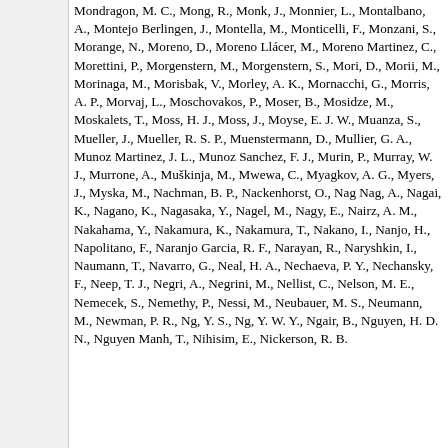Mondragon, M. C., Mong, R., Monk, J., Monnier, L., Montalbano, A., Montejo Berlingen, J., Montella, M., Monticelli, F., Monzani, S., Morange, N., Moreno, D., Moreno Llácer, M., Moreno Martinez, C., Morettini, P., Morgenstern, M., Morgenstern, S., Mori, D., Morii, M., Morinaga, M., Morisbak, V., Morley, A. K., Mornacchi, G., Morris, A. P., Morvaj, L., Moschovakos, P., Moser, B., Mosidze, M., Moskalets, T., Moss, H. J., Moss, J., Moyse, E. J. W., Muanza, S., Mueller, J., Mueller, R. S. P., Muenstermann, D., Mullier, G. A., Munoz Martinez, J. L., Munoz Sanchez, F. J., Murin, P., Murray, W. J., Murrone, A., Muškinja, M., Mwewa, C., Myagkov, A. G., Myers, J., Myska, M., Nachman, B. P., Nackenhorst, O., Nag Nag, A., Nagai, K., Nagano, K., Nagasaka, Y., Nagel, M., Nagy, E., Nairz, A. M., Nakahama, Y., Nakamura, K., Nakamura, T., Nakano, I., Nanjo, H., Napolitano, F., Naranjo Garcia, R. F., Narayan, R., Naryshkin, I., Naumann, T., Navarro, G., Neal, H. A., Nechaeva, P. Y., Nechansky, F., Neep, T. J., Negri, A., Negrini, M., Nellist, C., Nelson, M. E., Nemecek, S., Nemethy, P., Nessi, M., Neubauer, M. S., Neumann, M., Newman, P. R., Ng, Y. S., Ng, Y. W. Y., Ngair, B., Nguyen, H. D. N., Nguyen Manh, T., Nihisim, E., Nickerson, R. B.